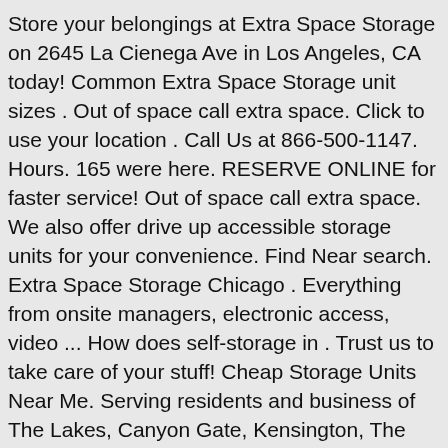Store your belongings at Extra Space Storage on 2645 La Cienega Ave in Los Angeles, CA today! Common Extra Space Storage unit sizes . Out of space call extra space. Click to use your location . Call Us at 866-500-1147. Hours. 165 were here. RESERVE ONLINE for faster service! Out of space call extra space. We also offer drive up accessible storage units for your convenience. Find Near search. Extra Space Storage Chicago . Everything from onsite managers, electronic access, video ... How does self-storage in . Trust us to take care of your stuff! Cheap Storage Units Near Me. Serving residents and business of The Lakes, Canyon Gate, Kensington, The Vegas Strip, West Sahara and the surrounding areas. Compare Storage Units Near Me. They rent a storage unit on a monthly or lease basis. 5' x 5' Unit. Reserve self-storage for free online now to lock in the lowest price. Sometimes we all need some extra space.